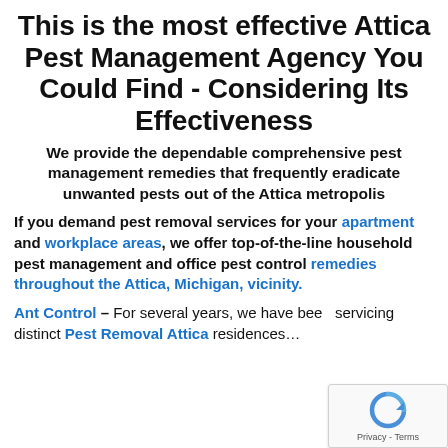This is the most effective Attica Pest Management Agency You Could Find - Considering Its Effectiveness
We provide the dependable comprehensive pest management remedies that frequently eradicate unwanted pests out of the Attica metropolis
If you demand pest removal services for your apartment and workplace areas, we offer top-of-the-line household pest management and office pest control remedies throughout the Attica, Michigan, vicinity.
Ant Control – For several years, we have been servicing distinct Pest Removal Attica residences